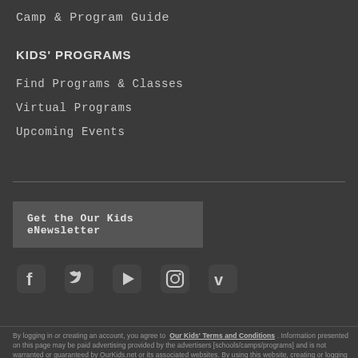Camp & Program Guide
KIDS' PROGRAMS
Find Programs & Classes
Virtual Programs
Upcoming Events
Get the Our Kids eNewsletter
[Figure (infographic): Social media icons: Facebook, Twitter, YouTube, Instagram, Vimeo]
By logging in or creating an account, you agree to Our Kids' Terms and Conditions . Information presented on this page may be paid advertising provided by the advertisers [schools/camps/programs] and is not warranted or guaranteed by OurKids.net or its associated websites. By using this website, creating or logging into an Our Kids account.